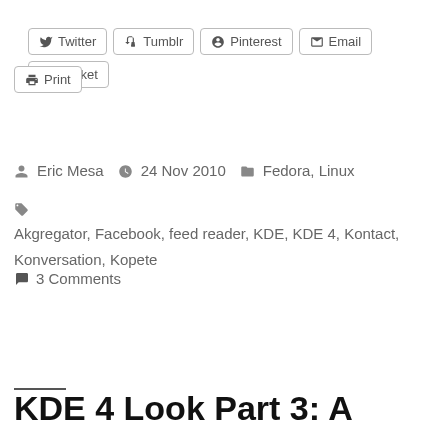Twitter
Tumblr
Pinterest
Email
Pocket
Print
Eric Mesa  24 Nov 2010  Fedora, Linux
Akgregator, Facebook, feed reader, KDE, KDE 4, Kontact, Konversation, Kopete
3 Comments
KDE 4 Look Part 3: A